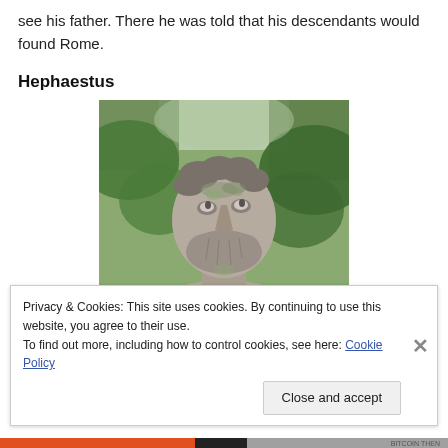see his father. There he was told that his descendants would found Rome.
Hephaestus
[Figure (photo): Stone bust/statue of a bearded man (Hephaestus) with moss/lichen on it, set against a background of green foliage.]
Privacy & Cookies: This site uses cookies. By continuing to use this website, you agree to their use.
To find out more, including how to control cookies, see here: Cookie Policy
Close and accept